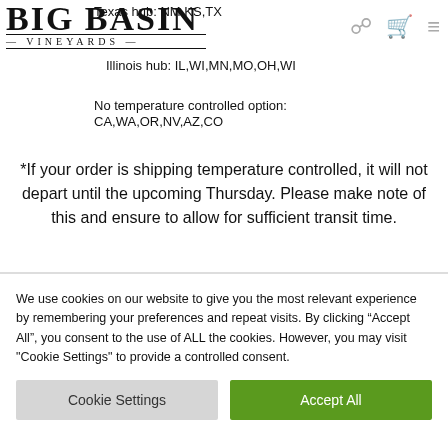Big Basin Vineyards
Texas hub: NM,KS,TX
Illinois hub: IL,WI,MN,MO,OH,WI
No temperature controlled option: CA,WA,OR,NV,AZ,CO
*If your order is shipping temperature controlled, it will not depart until the upcoming Thursday. Please make note of this and ensure to allow for sufficient transit time.
We use cookies on our website to give you the most relevant experience by remembering your preferences and repeat visits. By clicking “Accept All”, you consent to the use of ALL the cookies. However, you may visit "Cookie Settings" to provide a controlled consent.